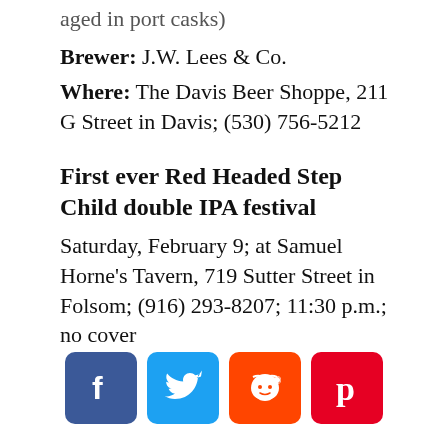aged in port casks)
Brewer: J.W. Lees & Co.
Where: The Davis Beer Shoppe, 211 G Street in Davis; (530) 756-5212
First ever Red Headed Step Child double IPA festival
Saturday, February 9; at Samuel Horne's Tavern, 719 Sutter Street in Folsom; (916) 293-8207; 11:30 p.m.; no cover
[Figure (other): Social media share icons: Facebook (blue), Twitter (light blue), Reddit (orange), Pinterest (red)]